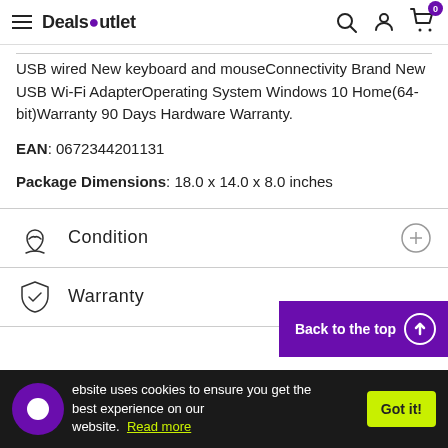Deals Outlet — navigation header with hamburger menu, search, account, and cart icons
USB wired New keyboard and mouseConnectivity Brand New USB Wi-Fi AdapterOperating System Windows 10 Home(64-bit)Warranty 90 Days Hardware Warranty.
EAN: 0672344201131
Package Dimensions: 18.0 x 14.0 x 8.0 inches
Condition
Warranty
website uses cookies to ensure you get the best experience on our website. Read more